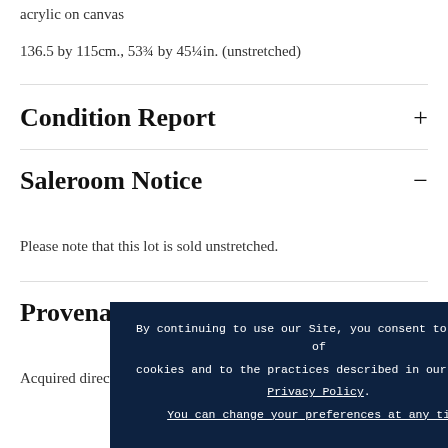acrylic on canvas
136.5 by 115cm., 53¾ by 45¼in. (unstretched)
Condition Report
Saleroom Notice
Please note that this lot is sold unstretched.
Provenance
Acquired directly from the artist
By continuing to use our Site, you consent to our use of cookies and to the practices described in our updated Privacy Policy. You can change your preferences at any time.